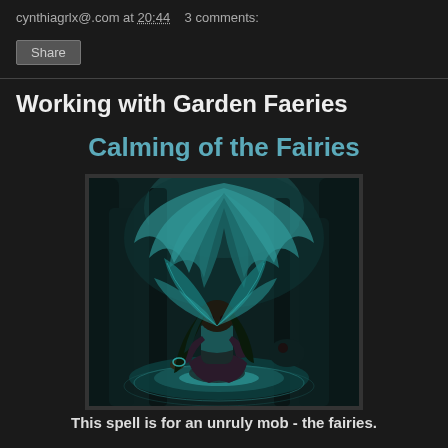cynthiagrlx@.com at 20:44   3 comments:
Share
Working with Garden Faeries
Calming of the Fairies
[Figure (illustration): Anime-style fairy girl with long black-green hair and large teal insect wings kneeling in a glowing pool of water surrounded by large plants and dark tree trunks in a mystical forest, rendered in teal and dark tones.]
This spell is for an unruly mob - the fairies.